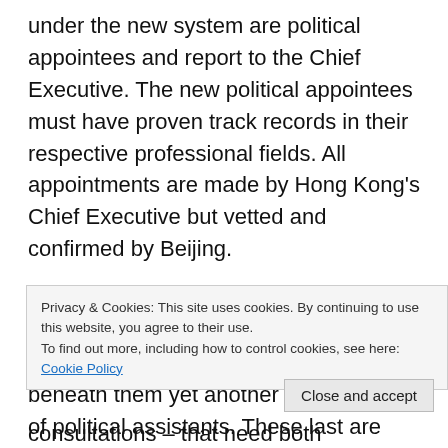under the new system are political appointees and report to the Chief Executive. The new political appointees must have proven track records in their respective professional fields. All appointments are made by Hong Kong's Chief Executive but vetted and confirmed by Beijing.
In 2008, this new system was augmented with another tier of appointed deputy bureau heads, and beneath them yet another new category of political assistants. These last are younger people
Privacy & Cookies: This site uses cookies. By continuing to use this website, you agree to their use.
To find out more, including how to control cookies, see here: Cookie Policy
consultations – that need both professional